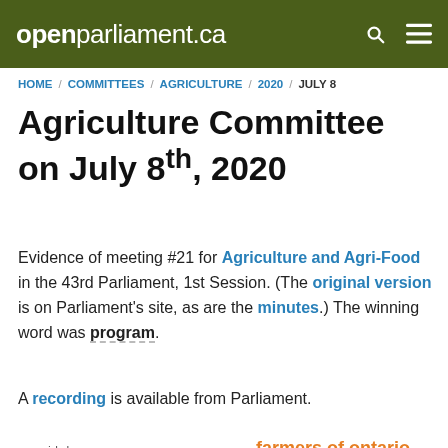openparliament.ca
HOME / COMMITTEES / AGRICULTURE / 2020 / JULY 8
Agriculture Committee on July 8th, 2020
Evidence of meeting #21 for Agriculture and Agri-Food in the 43rd Parliament, 1st Session. (The original version is on Parliament's site, as are the minutes.) The winning word was program.
A recording is available from Parliament.
[Figure (infographic): Word cloud featuring terms from the Agriculture Committee meeting on July 8, 2020. Largest words: 'program' (green, very large), 'business risk management' (pink/magenta, large), 'young farmers forum' (pink, medium-large), 'farmers of ontario' (orange, medium), 'start' (orange, medium), 'back' (red, medium), 'average' (pink, medium), 'feeders' (pink, medium), 'brm' (red, small), 'bissonnette' (gray, small), 'price drop' (blue, small), 'minutes go ahead' (dark gray, small), 'reference margin limit' (blue, small), 'covid-19' (blue, small), 'cash flow' (pink, small), 'michel' (dark, small), 'glenn' (gray, small), 'million' (gray, small)]